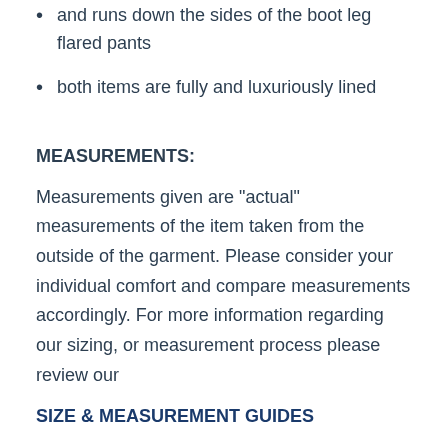and runs down the sides of the boot leg flared pants
both items are fully and luxuriously lined
MEASUREMENTS:
Measurements given are "actual" measurements of the item taken from the outside of the garment. Please consider your individual comfort and compare measurements accordingly. For more information regarding our sizing, or measurement process please review our
SIZE & MEASUREMENT GUIDES
jacket, bust-34", shoulders-15", sleeves-22" (may have about an inch under the lining that can be let down if